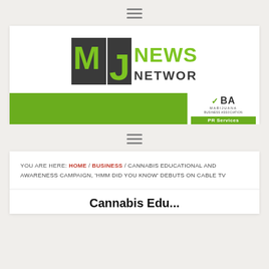≡ (hamburger menu icon)
[Figure (logo): MJ News Network logo - green and dark grey with stylized MJ letters and NEWS NETWORK text]
[Figure (logo): MJ Business Association PR Services banner - green background with MBA logo and PR Services label]
≡ (hamburger menu icon)
YOU ARE HERE: HOME / BUSINESS / CANNABIS EDUCATIONAL AND AWARENESS CAMPAIGN, 'HMM DID YOU KNOW' DEBUTS ON CABLE TV
Cannabis Educational and...